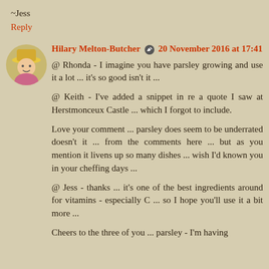~Jess
Reply
Hilary Melton-Butcher  20 November 2016 at 17:41
@ Rhonda - I imagine you have parsley growing and use it a lot ... it's so good isn't it ...

@ Keith - I've added a snippet in re a quote I saw at Herstmonceux Castle ... which I forgot to include.

Love your comment ... parsley does seem to be underrated doesn't it ... from the comments here ... but as you mention it livens up so many dishes ... wish I'd known you in your cheffing days ...

@ Jess - thanks ... it's one of the best ingredients around for vitamins - especially C ... so I hope you'll use it a bit more ...

Cheers to the three of you ... parsley - I'm having